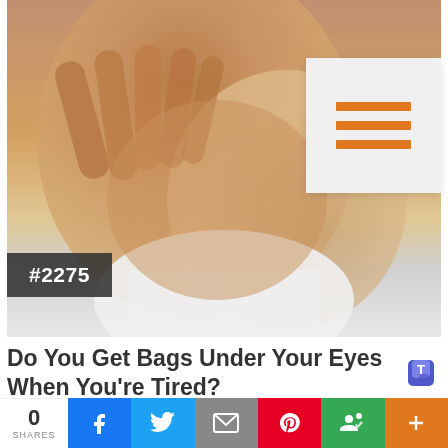[Figure (photo): Close-up photo of a child rubbing their eyes with both hands, wearing a white shirt. Background is light.]
#2275
Do You Get Bags Under Your Eyes When You're Tired?
[Figure (logo): Microsoft Teams logo icon in purple/blue]
0 SHARES | Facebook share | Twitter share | Email share | Pinterest share | Groups share | More share